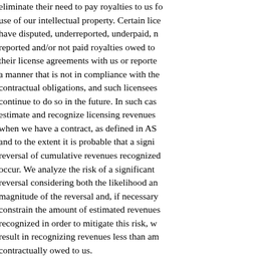eliminate their need to pay royalties to us for the use of our intellectual property. Certain licensees have disputed, underreported, underpaid, not reported and/or not paid royalties owed to us under their license agreements with us or reported in a manner that is not in compliance with their contractual obligations, and such licensees may continue to do so in the future. In such cases, we estimate and recognize licensing revenues only when we have a contract, as defined in ASC 606, and to the extent it is probable that a significant reversal of cumulative revenues recognized will not occur. We analyze the risk of a significant revenue reversal considering both the likelihood and magnitude of the reversal and, if necessary, constrain the amount of estimated revenues recognized in order to mitigate this risk, which may result in recognizing revenues less than amounts contractually owed to us.
We measure revenues based on the amount of consideration we expect to receive in exchange for products or services. We record reductions to revenues for customer incentive arrangements, including volume-related and other pricing adjustments and cost reimbursements for marketing and selling activities involving certain of our products and technologies, in the period that the related revenues are earned. The charges for such arrangements...